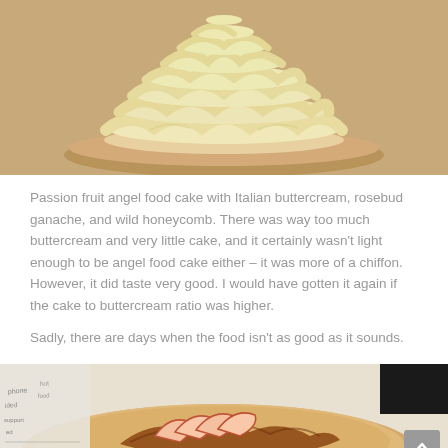[Figure (photo): A cake with layered Italian buttercream piped in rosebud swirls on top, sitting on a round wooden board. The buttercream is pale yellow-cream colored and appears very voluminous.]
Passion fruit angel food cake with Italian buttercream, rosebud ganache, and wild honeycomb. There was way too much buttercream and very little cake, and it certainly wasn't light enough to be angel food cake either – it was more of a chiffon. However, it did taste very good. I would have gotten it again if the cake to buttercream ratio was higher.
Sadly, there are days when the food isn't as good as it sounds.
[Figure (photo): A dessert plate on a round wooden board showing sliced apples arranged over a caramel sauce. There is a menu or newspaper visible in the background on the left, and a dark area on the upper right. A scroll-to-top button with an upward chevron is visible in the lower right corner.]